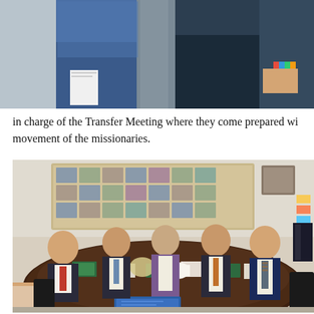[Figure (photo): Cropped photo showing people in formal/business attire from the torso down, standing close together. Partial view of clothing — blue jacket, dark suits, colorful bracelet visible.]
in charge of the Transfer Meeting where they come prepared wi movement of the missionaries.
[Figure (photo): Group of six people seated around a large dark oval conference table in an office. Papers, green binders, a roll of paper, and a bag of food on the table. A bulletin board with photos covers the back wall. People are dressed in formal business/church attire — men in suits and ties, one woman in a purple vest.]